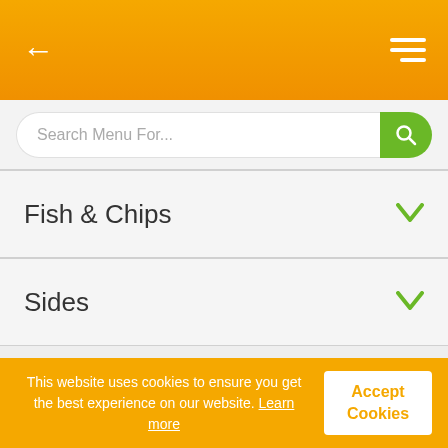[Figure (screenshot): Mobile app top navigation bar with orange/yellow gradient background, white left arrow back button on left, white hamburger menu icon on right]
[Figure (screenshot): Search bar with rounded input field containing placeholder text 'Search Menu For...' and a green search button with magnifying glass icon]
Fish & Chips
Sides
This website uses cookies to ensure you get the best experience on our website. Learn more
Accept Cookies